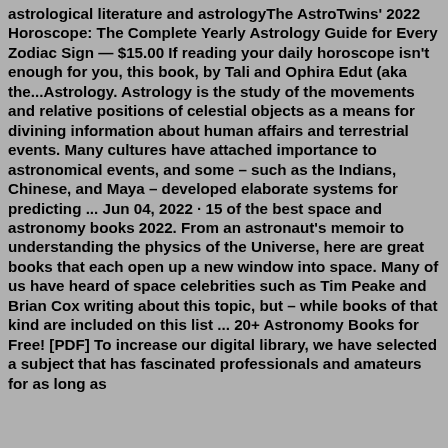astrological literature and astrologyThe AstroTwins' 2022 Horoscope: The Complete Yearly Astrology Guide for Every Zodiac Sign — $15.00 If reading your daily horoscope isn't enough for you, this book, by Tali and Ophira Edut (aka the...Astrology. Astrology is the study of the movements and relative positions of celestial objects as a means for divining information about human affairs and terrestrial events. Many cultures have attached importance to astronomical events, and some – such as the Indians, Chinese, and Maya – developed elaborate systems for predicting ... Jun 04, 2022 · 15 of the best space and astronomy books 2022. From an astronaut's memoir to understanding the physics of the Universe, here are great books that each open up a new window into space. Many of us have heard of space celebrities such as Tim Peake and Brian Cox writing about this topic, but – while books of that kind are included on this list ... 20+ Astronomy Books for Free! [PDF] To increase our digital library, we have selected a subject that has fascinated professionals and amateurs for as long as